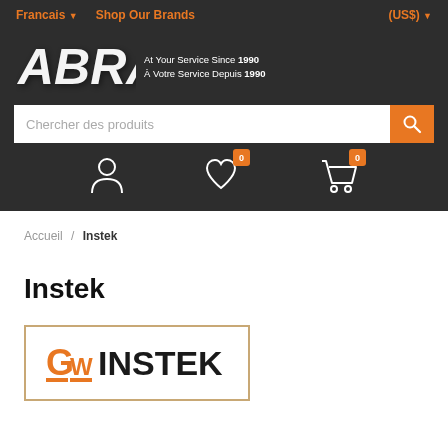Francais ▼   Shop Our Brands   (US$) ▼
[Figure (logo): ABRA logo with tagline 'At Your Service Since 1990 / À Votre Service Depuis 1990' on dark background]
Chercher des produits
[Figure (infographic): User account icon, heart/wishlist icon with badge 0, shopping cart icon with badge 0]
Accueil / Instek
Instek
[Figure (logo): GW Instek logo with orange and black text inside a bordered rectangle]